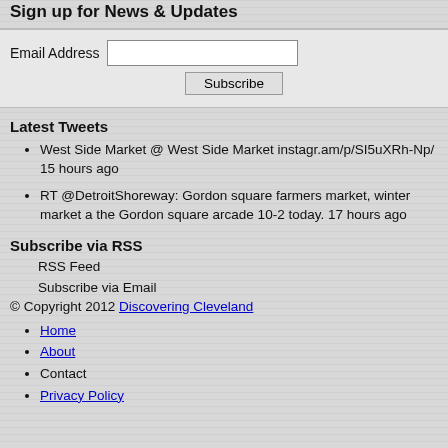Sign up for News & Updates
Email Address [input field] Subscribe [button]
Latest Tweets
West Side Market @ West Side Market instagr.am/p/SI5uXRh-Np/ 15 hours ago
RT @DetroitShoreway: Gordon square farmers market, winter market a the Gordon square arcade 10-2 today. 17 hours ago
Subscribe via RSS
RSS Feed
Subscribe via Email
© Copyright 2012 Discovering Cleveland
Home
About
Contact
Privacy Policy